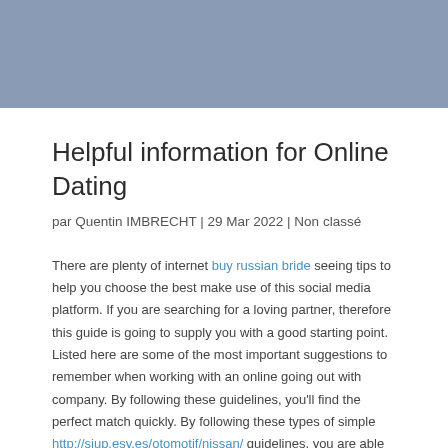[Figure (other): Blue-grey decorative header banner spanning full page width]
Helpful information for Online Dating
par Quentin IMBRECHT | 29 Mar 2022 | Non classé
There are plenty of internet buy russian bride seeing tips to help you choose the best make use of this social media platform. If you are searching for a loving partner, therefore this guide is going to supply you with a good starting point. Listed here are some of the most important suggestions to remember when working with an online going out with company. By following these guidelines, you'll find the perfect match quickly. By following these types of simple http://siup.esy.es/otomotif/nissan/ guidelines, you are able to get started on the trail to finding the soul mate.
The first thing you must do is certainly understand that internet dating before and the next step is that you'll first clue of the internet dating